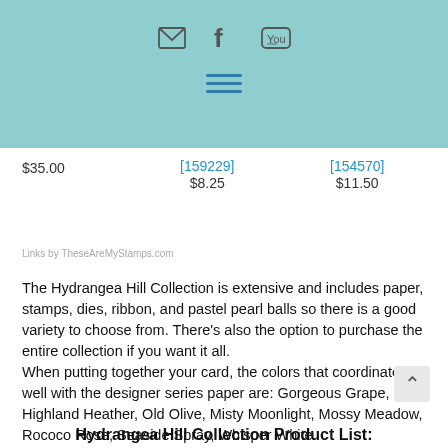[Figure (other): Teal/mint colored header bar with social media icons (email, facebook, youtube) and a hamburger menu icon in blue]
$35.00
[159229]
$8.25
[154570]
$11.50
Links by TheseAreMyStamps.com
The Hydrangea Hill Collection is extensive and includes paper, stamps, dies, ribbon, and pastel pearl balls so there is a good variety to choose from. There's also the option to purchase the entire collection if you want it all.
When putting together your card, the colors that coordinate well with the designer series paper are: Gorgeous Grape, Highland Heather, Old Olive, Misty Moonlight, Mossy Meadow, Rococo Rose, Seaside Spray, Whisper White.
See the links below to get more detailed images from the Stampin' Up! website and to shop with me.
Hydrangea Hill Collection Product List: